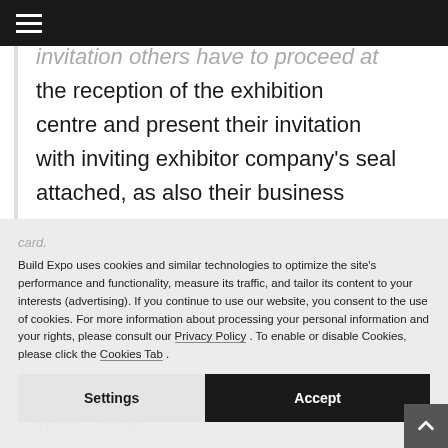Navigation menu bar
invitation others have to proceed at the reception of the exhibition centre and present their invitation with inviting exhibitor company's seal attached, as also their business card.
Build Expo uses cookies and similar technologies to optimize the site's performance and functionality, measure its traffic, and tailor its content to your interests (advertising). If you continue to use our website, you consent to the use of cookies. For more information about processing your personal information and your rights, please consult our Privacy Policy . To enable or disable Cookies, please click the Cookies Tab .
Settings
Accept
Opening Hours
10:00 – 20:00